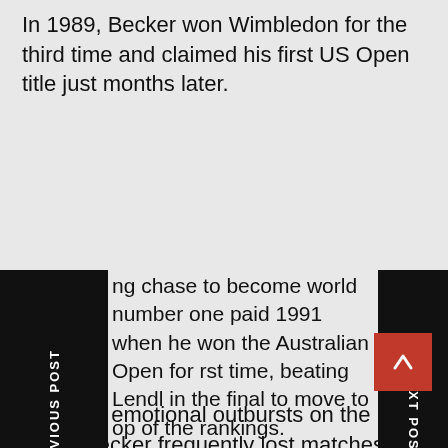In 1989, Becker won Wimbledon for the third time and claimed his first US Open title just months later.
ng chase to become world number one paid 1991 when he won the Australian Open for rst time, beating Lendl in the final to move to op of the rankings.
er's greatest moment would prove to be the of his steep decline.
Prone to emotional outbursts on the court, Becker frequently lost matches that were in his grasp and earned numerous fines for smashing his racquet.
Those tantrums were public displays of the